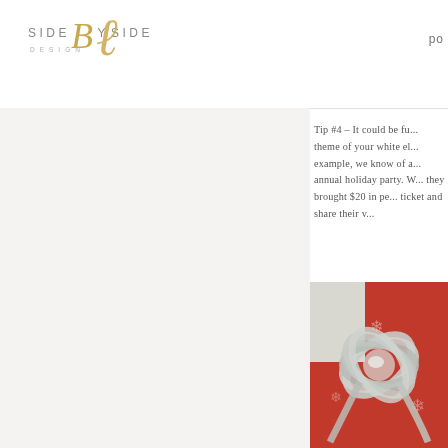SIDE by SIDE DESIGN   po
Tip #4 – It could be fu... theme of your white el... example, we know of a... annual holiday party. W... they brought $20 in pe... ticket and share their v...
[Figure (photo): A gift wrapped in red paper with a large silver metallic bow on top, holiday gift exchange photo]